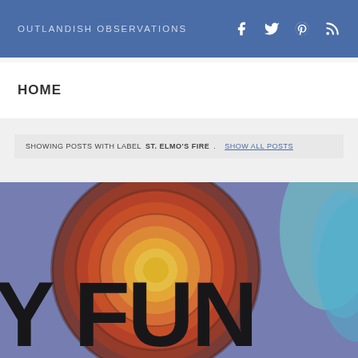OUTLANDISH OBSERVATIONS
HOME
SHOWING POSTS WITH LABEL ST. ELMO'S FIRE. SHOW ALL POSTS
[Figure (illustration): Colorful blurred book or album cover art showing concentric circles in orange, red, and gold tones on a purple background, with large black bold letters reading 'Y FUN' and a teal swirl on the right side]